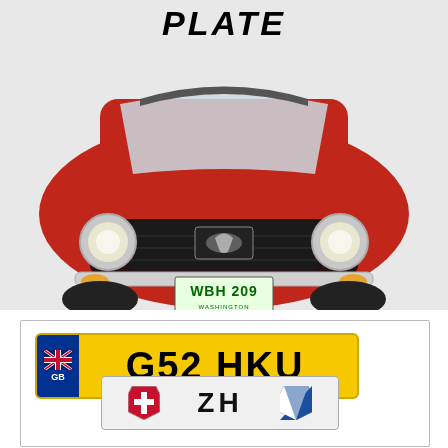PLATE
[Figure (photo): Front view of a red Ford Mustang classic car with a Washington state license plate reading WBH 209]
[Figure (photo): UK yellow license plate reading G52 HKU with GB flag, and a Swiss license plate with ZH text and Swiss cross and canton shield]